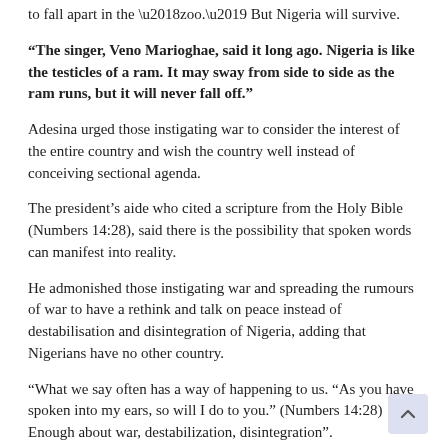to fall apart in the 'zoo.' But Nigeria will survive.
“The singer, Veno Marioghae, said it long ago. Nigeria is like the testicles of a ram. It may sway from side to side as the ram runs, but it will never fall off.”
Adesina urged those instigating war to consider the interest of the entire country and wish the country well instead of conceiving sectional agenda.
The president’s aide who cited a scripture from the Holy Bible (Numbers 14:28), said there is the possibility that spoken words can manifest into reality.
He admonished those instigating war and spreading the rumours of war to have a rethink and talk on peace instead of destabilisation and disintegration of Nigeria, adding that Nigerians have no other country.
“What we say often has a way of happening to us. “As you have spoken into my ears, so will I do to you.” (Numbers 14:28) Enough about war, destabilization, disintegration”.
Kaduna School Abduction: Govt Gives Updates, Declares 30